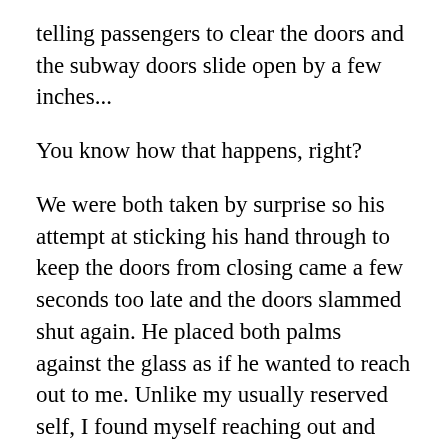telling passengers to clear the doors and the subway doors slide open by a few inches...
You know how that happens, right?
We were both taken by surprise so his attempt at sticking his hand through to keep the doors from closing came a few seconds too late and the doors slammed shut again. He placed both palms against the glass as if he wanted to reach out to me. Unlike my usually reserved self, I found myself reaching out and placing one of my palms against his through the glass. The train started to pull away and that was the end of that.